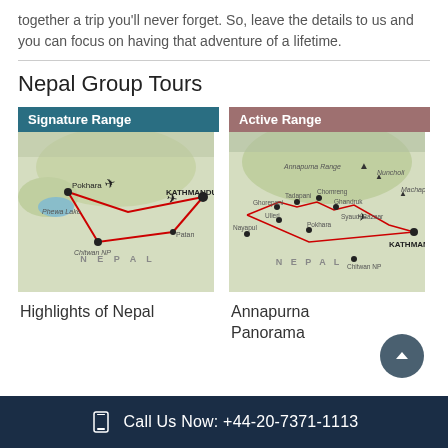together a trip you'll never forget. So, leave the details to us and you can focus on having that adventure of a lifetime.
Nepal Group Tours
[Figure (map): Map of Nepal showing Signature Range tour route with red lines connecting Pokhara, Phewa Lake, Chitwan NP, Patan, and Kathmandu with airplane icons]
Highlights of Nepal
[Figure (map): Map of Nepal showing Active Range tour route with red lines connecting Annapurna Range, Nuncholi, Tadapani, Chomreng, Ghorepani, Ghandruk, Machapuchare, Ulleri, Syaudi Bazaar, Nayapul, Pokhara, Chitwan NP, and Kathmandu with airplane icons]
Annapurna Panorama
Call Us Now: +44-20-7371-1113